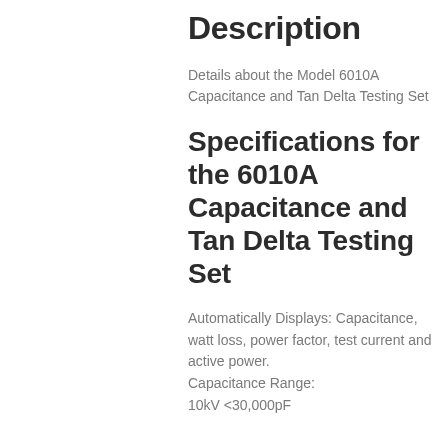Description
Details about the Model 6010A Capacitance and Tan Delta Testing Set
Specifications for the 6010A Capacitance and Tan Delta Testing Set
Automatically Displays: Capacitance, watt loss, power factor, test current and active power.
Capacitance Range:
10kV <30,000pF